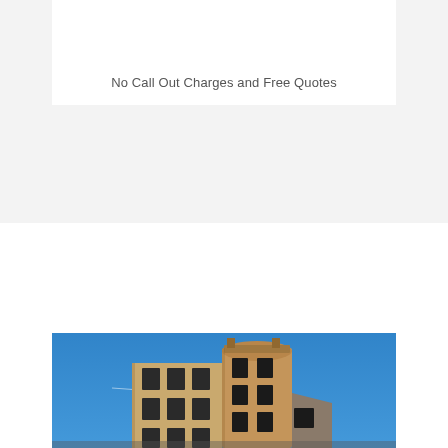No Call Out Charges and Free Quotes
[Figure (photo): Photograph of a multi-storey sandstone tenement building with a curved corner tower, photographed from below against a bright blue sky.]